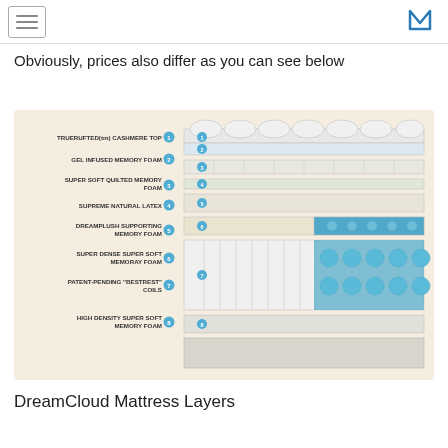M (logo)
Obviously, prices also differ as you can see below
[Figure (infographic): Exploded diagram of DreamCloud mattress showing 8 labeled layers: 1. TRUERUFTED(tm) CASHMERE TOP, 2. GEL INFUSED MEMORY FOAM, 3. SUPER SOFT QUILTED MEMORY FOAM, 4. SUPREME NATURAL LATEX, 5. DREAMPLUSH SUPPORTING MEMORY FOAM, 6. SUPER DENSE SUPER SOFT MEMORAY FOAM, 7. PATENT-PENDING "BESTREST" COILS, 8. HIGH DENSITY SUPER SOFT MEMORY FOAM. Each layer is shown in an isometric exploded view with numbered blue circle markers.]
DreamCloud Mattress Layers